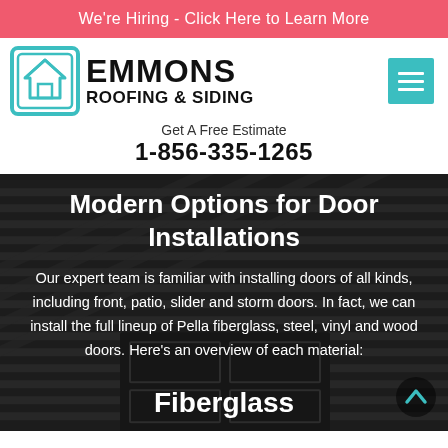We're Hiring - Click Here to Learn More
[Figure (logo): Emmons Roofing & Siding logo with teal house icon]
Get A Free Estimate
1-856-335-1265
Modern Options for Door Installations
Our expert team is familiar with installing doors of all kinds, including front, patio, slider and storm doors. In fact, we can install the full lineup of Pella fiberglass, steel, vinyl and wood doors. Here's an overview of each material:
Fiberglass